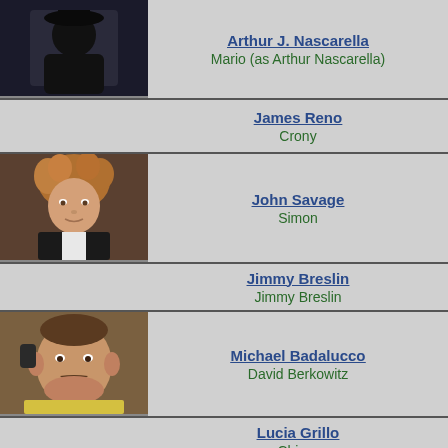| Photo | Actor | Role |
| --- | --- | --- |
| [photo] | Arthur J. Nascarella | Mario (as Arthur Nascarella) |
| [no photo] | James Reno | Crony |
| [photo] | John Savage | Simon |
| [no photo] | Jimmy Breslin | Jimmy Breslin |
| [photo] | Michael Badalucco | David Berkowitz |
| [no photo] | Lucia Grillo | Chiara |
| [photo] |  |  |